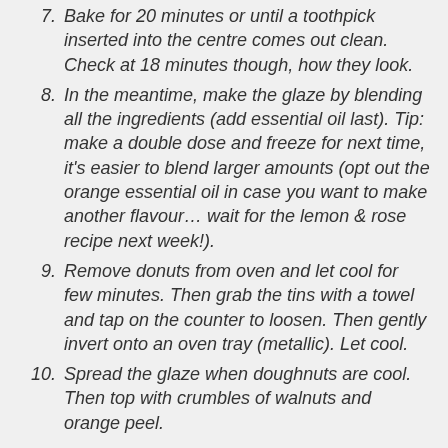Bake for 20 minutes or until a toothpick inserted into the centre comes out clean. Check at 18 minutes though, how they look.
In the meantime, make the glaze by blending all the ingredients (add essential oil last). Tip: make a double dose and freeze for next time, it's easier to blend larger amounts (opt out the orange essential oil in case you want to make another flavour… wait for the lemon & rose recipe next week!).
Remove donuts from oven and let cool for few minutes. Then grab the tins with a towel and tap on the counter to loosen. Then gently invert onto an oven tray (metallic). Let cool.
Spread the glaze when doughnuts are cool. Then top with crumbles of walnuts and orange peel.